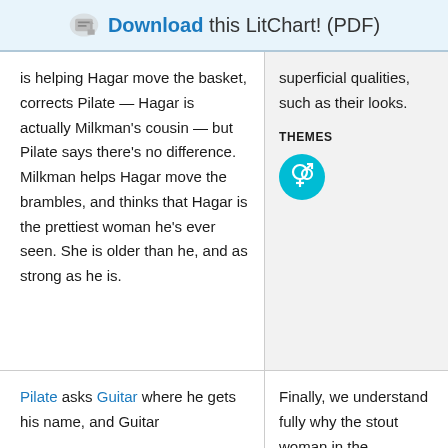Download this LitChart! (PDF)
is helping Hagar move the basket, corrects Pilate — Hagar is actually Milkman's cousin — but Pilate says there's no difference. Milkman helps Hagar move the brambles, and thinks that Hagar is the prettiest woman he's ever seen. She is older than he, and as strong as he is.
superficial qualities, such as their looks.
THEMES
[Figure (other): Teal circle icon with combined male and female gender symbol in white]
Pilate asks Guitar where he gets his name, and Guitar
Finally, we understand fully why the stout woman in the